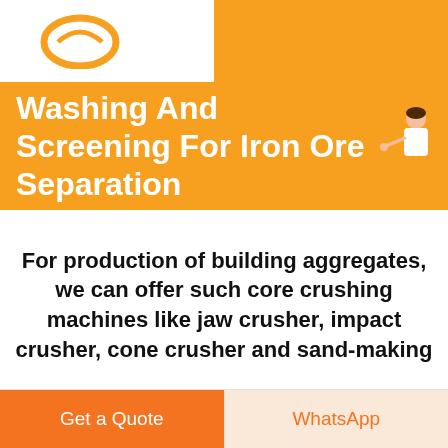[Figure (logo): Orange circular logo on white background in top-left corner]
Washing And Screening For Iron Ore Separation
[Figure (illustration): Customer service agent illustration with Free chat button in blue rounded rectangle]
For production of building aggregates, we can offer such core crushing machines like jaw crusher, impact crusher, cone crusher and sand-making
Get a Quote | WhatsApp